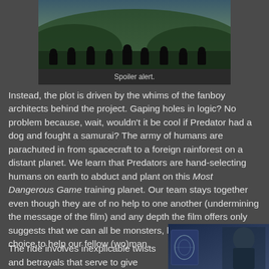[Figure (photo): Silhouettes of multiple people sitting with their backs to the viewer, overlooking a forested mountain landscape]
Spoiler alert.
Instead, the plot is driven by the whims of the fanboy architects behind the project.  Gaping holes in logic?  No problem because, wait, wouldn't it be cool if Predator had a dog and fought a samurai?  The army of humans are parachuted in from spacecraft to a foreign rainforest on a distant planet.  We learn that Predators are hand-selecting humans on earth to abduct and plant on this Most Dangerous Game training planet.  Our team stays together even though they are of no help to one another (undermining the message of the film) and any depth the film offers only suggests that we can all be monsters, but we have the choice to help our fellow (wo)man.
The ride involves inexplicable twists and betrayals that serve to give
[Figure (photo): A person with a brain scan image visible in the background, blue-toned image]